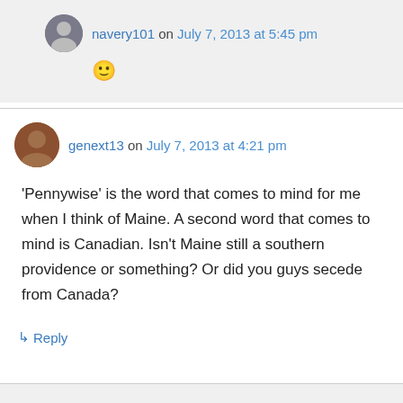navery101 on July 7, 2013 at 5:45 pm
🙂
genext13 on July 7, 2013 at 4:21 pm
'Pennywise' is the word that comes to mind for me when I think of Maine. A second word that comes to mind is Canadian. Isn't Maine still a southern providence or something? Or did you guys secede from Canada?
↳ Reply